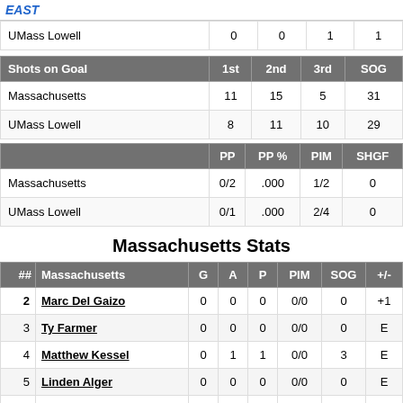|  | 1st | 2nd | 3rd | SOG |
| --- | --- | --- | --- | --- |
| UMass Lowell | 0 | 0 | 1 | 1 |
| Shots on Goal | 1st | 2nd | 3rd | SOG |
| --- | --- | --- | --- | --- |
| Massachusetts | 11 | 15 | 5 | 31 |
| UMass Lowell | 8 | 11 | 10 | 29 |
|  | PP | PP % | PIM | SHGF |
| --- | --- | --- | --- | --- |
| Massachusetts | 0/2 | .000 | 1/2 | 0 |
| UMass Lowell | 0/1 | .000 | 2/4 | 0 |
Massachusetts Stats
| ## | Massachusetts | G | A | P | PIM | SOG | +/- |
| --- | --- | --- | --- | --- | --- | --- | --- |
| 2 | Marc Del Gaizo | 0 | 0 | 0 | 0/0 | 0 | +1 |
| 3 | Ty Farmer | 0 | 0 | 0 | 0/0 | 0 | E |
| 4 | Matthew Kessel | 0 | 1 | 1 | 0/0 | 3 | E |
| 5 | Linden Alger | 0 | 0 | 0 | 0/0 | 0 | E |
| 7 | Cal Kiefiuk | 0 | 0 | 0 | 0/0 | 3 | E |
| 8 | Bobby Trivigno | 0 | 0 | 0 | 0/0 | 1 | +1 |
| 10 | Josh Lopina | 0 | 0 | 0 | 0/0 | 2 | +1 |